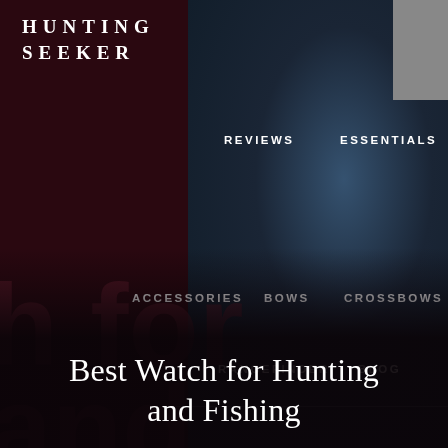HUNTING SEEKER
[Figure (screenshot): Website header for Hunting Seeker with dark maroon and navy background, blurred hand/watch photo on right side, large faded background text 'h for and g']
REVIEWS
ESSENTIALS
ACCESSORIES
BOWS
CROSSBOWS
RANGEFINDER
BLOG
Best Watch for Hunting and Fishing